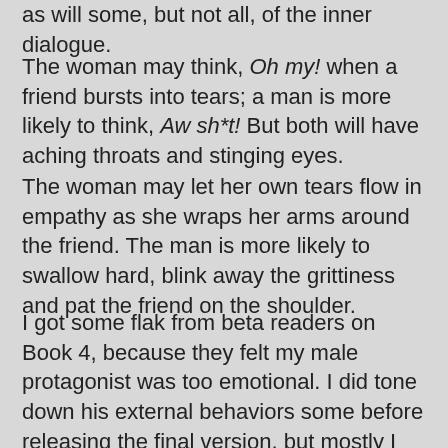as will some, but not all, of the inner dialogue.
The woman may think, Oh my! when a friend bursts into tears; a man is more likely to think, Aw sh*t! But both will have aching throats and stinging eyes.
The woman may let her own tears flow in empathy as she wraps her arms around the friend. The man is more likely to swallow hard, blink away the grittiness and pat the friend on the shoulder.
I got some flak from beta readers on Book 4, because they felt my male protagonist was too emotional. I did tone down his external behaviors some before releasing the final version, but mostly I just kept saying, “But that’s the whole point. That’s what the story’s exploring—what kinds of challenges and threats can bring a strong man to his knees?”